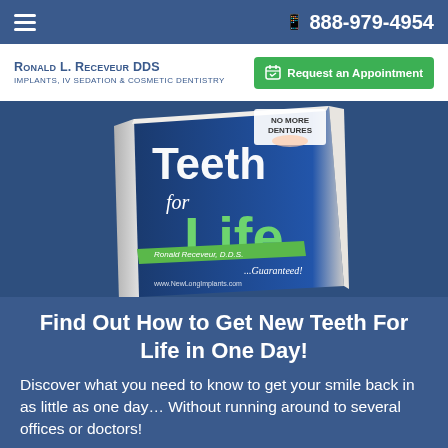☰  📱 888-979-4954
Ronald L. Receveur DDS
Implants, IV Sedation & Cosmetic Dentistry
Request an Appointment
[Figure (photo): Book cover titled 'Teeth for Life' by Ronald Receveur, D.D.S. with subtitle '...Guaranteed!' and 'No More Dentures' tag, on a blue background with dental implant imagery]
Find Out How to Get New Teeth For Life in One Day!
Discover what you need to know to get your smile back in as little as one day… Without running around to several offices or doctors!